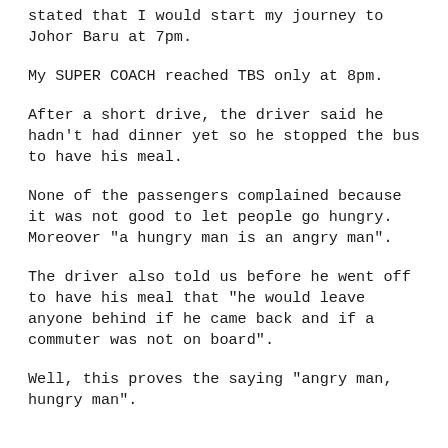stated that I would start my journey to Johor Baru at 7pm.
My SUPER COACH reached TBS only at 8pm.
After a short drive, the driver said he hadn't had dinner yet so he stopped the bus to have his meal.
None of the passengers complained because it was not good to let people go hungry. Moreover "a hungry man is an angry man".
The driver also told us before he went off to have his meal that "he would leave anyone behind if he came back and if a commuter was not on board".
Well, this proves the saying "angry man, hungry man".